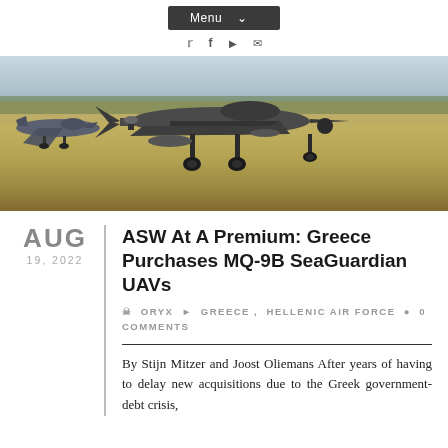Menu
[Figure (photo): Military aircraft (UAV/drone and fighter jet) parked on a tarmac/runway, viewed from ground level close-up showing landing gear and underside of aircraft.]
ASW At A Premium: Greece Purchases MQ-9B SeaGuardian UAVs
Oryx  Greece , Hellenic Air Force  0 Comments
By Stijn Mitzer and Joost Oliemans After years of having to delay new acquisitions due to the Greek government-debt crisis,